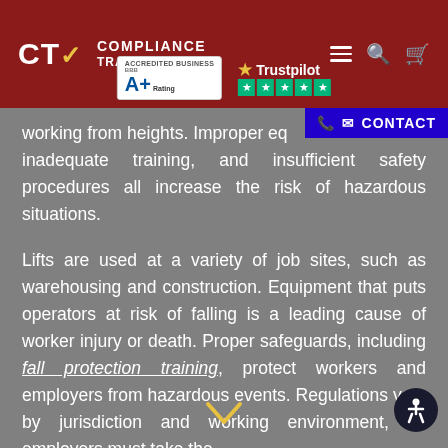[Figure (logo): CTO Compliance Training Online logo with BBB A+ Rating badge and Trustpilot 5-star rating, on dark red header with navigation icons]
working from heights. Improper equipment, inadequate training, and insufficient safety procedures all increase the risk of hazardous situations.
Lifts are used at a variety of job sites, such as warehousing and construction. Equipment that puts operators at risk of falling is a leading cause of worker injury or death. Proper safeguards, including fall protection training, protect workers and employers from hazardous events. Regulations vary by jurisdiction and working environment, so employers must take the